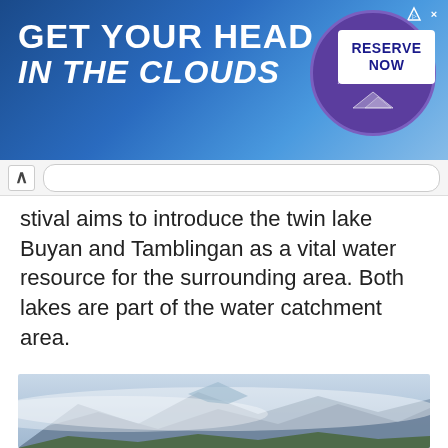[Figure (screenshot): Advertisement banner for Pikes Peak - America's Mountain with text 'GET YOUR HEAD in the CLOUDS', a purple circular badge with PIKES PEAK logo, and a RESERVE NOW button on blue sky background]
stival aims to introduce the twin lake Buyan and Tamblingan as a vital water resource for the surrounding area. Both lakes are part of the water catchment area.
Tourism development here is done with environmentally friendly concepts for the sake of preserving nature and the environment.
Back
[Figure (photo): Aerial misty mountain landscape photo showing mountains with low clouds, and green valley below]